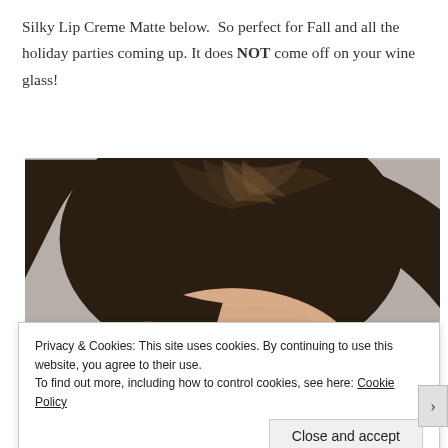Silky Lip Creme Matte below.  So perfect for Fall and all the holiday parties coming up. It does NOT come off on your wine glass!
[Figure (photo): Close-up photo of a woman with dark brown hair, showing the top of her head and forehead. Background appears to be a light gray curtain or fabric.]
Privacy & Cookies: This site uses cookies. By continuing to use this website, you agree to their use.
To find out more, including how to control cookies, see here: Cookie Policy
Close and accept